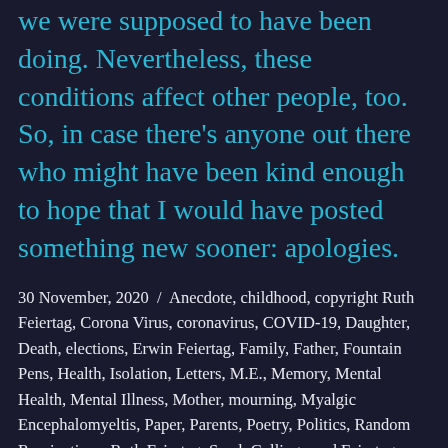we were supposed to have been doing. Nevertheless, these conditions affect other people, too. So, in case there's anyone out there who might have been kind enough to hope that I would have posted something new sooner: apologies.
30 November, 2020 / Anecdote, childhood, copyright Ruth Feiertag, Corona Virus, coronavirus, COVID-19, Daughter, Death, elections, Erwin Feiertag, Family, Father, Fountain Pens, Health, Isolation, Letters, M.E., Memory, Mental Health, Mental Illness, Mother, mourning, Myalgic Encephalomyeltis, Paper, Parents, Poetry, Politics, Random Ruminations, Ruth Feiertag, Sarah Collingwood Feiertag, Shakespeare, Social Isolation, speech, Stories, Uncategorized, vote, William Shakespeare, Writing / corona virus, COVID-19, death, Depression, Family, fountain pen inks, fountain pens, Fountainpens, Georgia, Georgia run-offs, Get Out The Vote, GOTV, Health